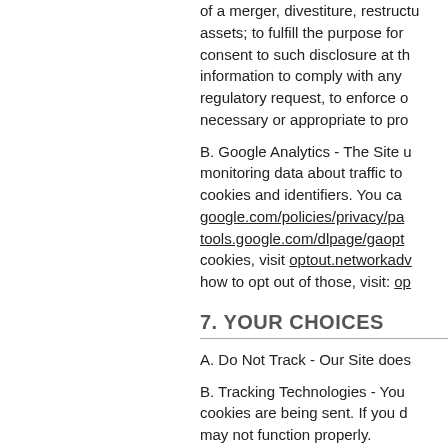of a merger, divestiture, restructuring, assets; to fulfill the purpose for which you consent to such disclosure at the time; information to comply with any regulatory request, to enforce our necessary or appropriate to protect
B. Google Analytics - The Site uses monitoring data about traffic to cookies and identifiers. You can visit google.com/policies/privacy/partners, tools.google.com/dlpage/gaoptout cookies, visit optout.networkadvertising.org how to opt out of those, visit: optout
7. YOUR CHOICES
A. Do Not Track - Our Site does
B. Tracking Technologies - You cookies are being sent. If you do may not function properly.
C. Updating Information - You may correct, or delete certain personal request to change information if you believe information to be incorrect.